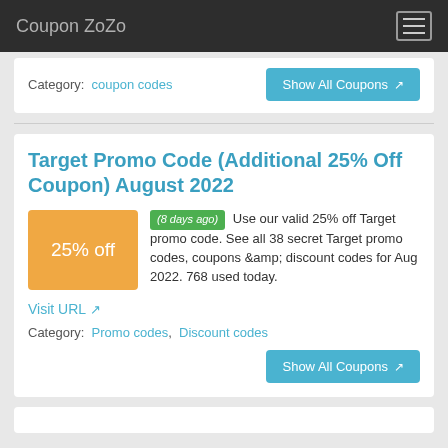Coupon ZoZo
Category: coupon codes
Show All Coupons
Target Promo Code (Additional 25% Off Coupon) August 2022
(8 days ago) Use our valid 25% off Target promo code. See all 38 secret Target promo codes, coupons &amp; discount codes for Aug 2022. 768 used today.
Visit URL
Category: Promo codes, Discount codes
Show All Coupons